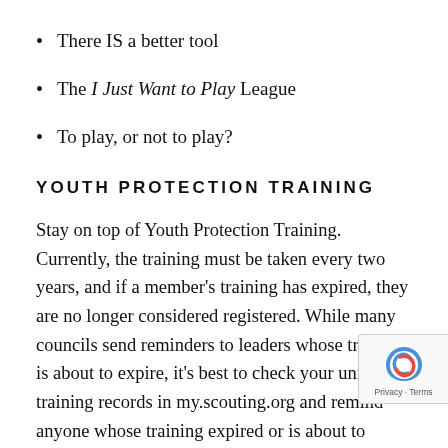There IS a better tool
The I Just Want to Play League
To play, or not to play?
YOUTH PROTECTION TRAINING
Stay on top of Youth Protection Training. Currently, the training must be taken every two years, and if a member's training has expired, they are no longer considered registered. While many councils send reminders to leaders whose training is about to expire, it's best to check your unit's training records in my.scouting.org and remind anyone whose training expired or is about to expire to retake the course as soon as they can. It's simple: Just go to my.scouting.org and